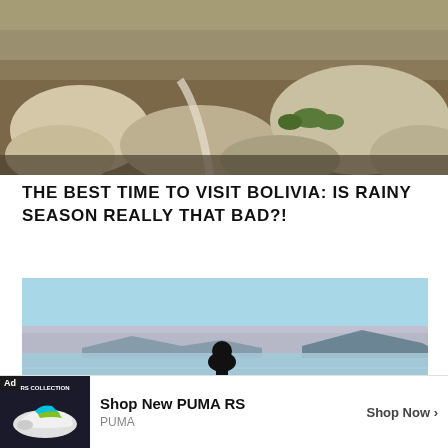[Figure (photo): Rocky mountain terrain with boulders, dry grass, and sparse green shrubs under warm light]
THE BEST TIME TO VISIT BOLIVIA: IS RAINY SEASON REALLY THAT BAD?!
[Figure (photo): Silhouette of a person standing at the edge of a vast salt flat at dusk, with mountains in the background and pastel sky]
Ad | RS COLLECTION | Shop New PUMA RS | PUMA | Shop Now >